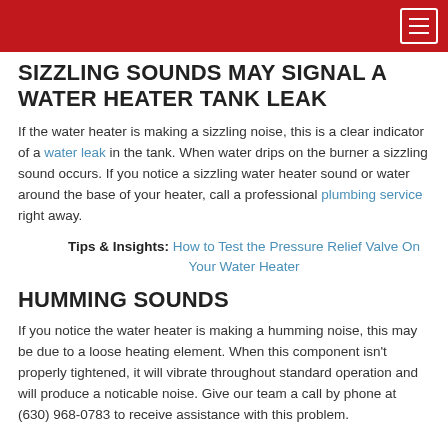SIZZLING SOUNDS MAY SIGNAL A WATER HEATER TANK LEAK
If the water heater is making a sizzling noise, this is a clear indicator of a water leak in the tank. When water drips on the burner a sizzling sound occurs. If you notice a sizzling water heater sound or water around the base of your heater, call a professional plumbing service right away.
Tips & Insights: How to Test the Pressure Relief Valve On Your Water Heater
HUMMING SOUNDS
If you notice the water heater is making a humming noise, this may be due to a loose heating element. When this component isn't properly tightened, it will vibrate throughout standard operation and will produce a noticable noise. Give our team a call by phone at (630) 968-0783 to receive assistance with this problem.